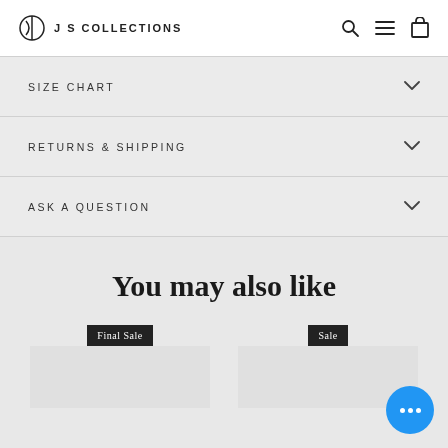J S COLLECTIONS
SIZE CHART
RETURNS & SHIPPING
ASK A QUESTION
You may also like
Final Sale
Sale